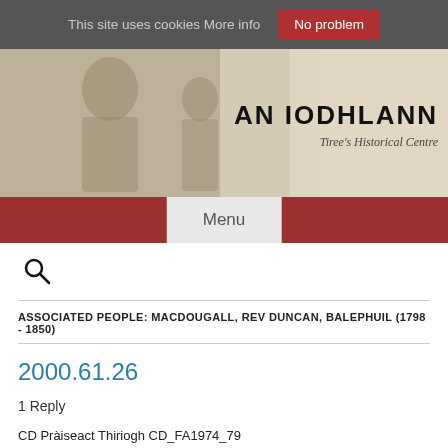This site uses cookies More info | No problem
[Figure (photo): Banner image showing An Iodhlann - Tiree's Historical Centre with sepia photograph of elderly man on left side]
Menu
[Figure (other): Search icon (magnifying glass)]
ASSOCIATED PEOPLE: MACDOUGALL, REV DUNCAN, BALEPHUIL (1798 - 1850)
2000.61.26
1 Reply
CD Praiseact Thiriogh CD_FA1974_79